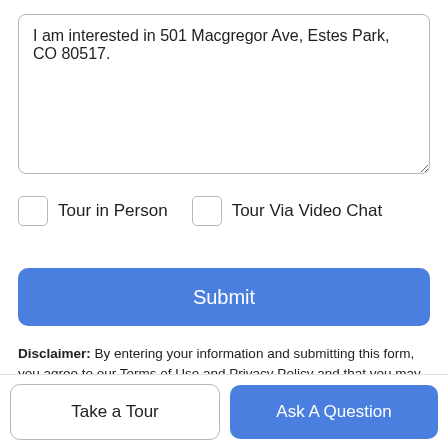I am interested in 501 Macgregor Ave, Estes Park, CO 80517.
Tour in Person
Tour Via Video Chat
Submit
Disclaimer: By entering your information and submitting this form, you agree to our Terms of Use and Privacy Policy and that you may be contacted by phone, text message and email about your inquiry.
© 2023 Information and Real Estate Services, LLC dba/ IDX
Take a Tour
Ask A Question